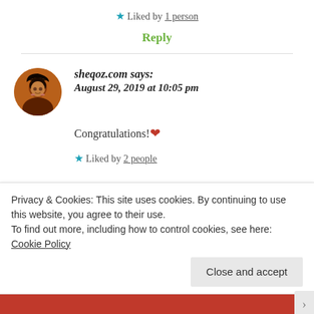★ Liked by 1 person
Reply
sheqoz.com says: August 29, 2019 at 10:05 pm
Congratulations! ❤
★ Liked by 2 people
Privacy & Cookies: This site uses cookies. By continuing to use this website, you agree to their use. To find out more, including how to control cookies, see here: Cookie Policy
Close and accept